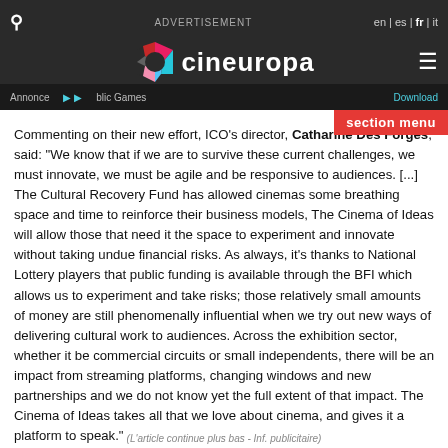Cineuropa — ADVERTISEMENT — en | es | fr | it
Commenting on their new effort, ICO's director, Catharine Des Forges, said: “We know that if we are to survive these current challenges, we must innovate, we must be agile and be responsive to audiences. [...] The Cultural Recovery Fund has allowed cinemas some breathing space and time to reinforce their business models, The Cinema of Ideas will allow those that need it the space to experiment and innovate without taking undue financial risks. As always, it’s thanks to National Lottery players that public funding is available through the BFI which allows us to experiment and take risks; those relatively small amounts of money are still phenomenally influential when we try out new ways of delivering cultural work to audiences. Across the exhibition sector, whether it be commercial circuits or small independents, there will be an impact from streaming platforms, changing windows and new partnerships and we do not know yet the full extent of that impact. The Cinema of Ideas takes all that we love about cinema, and gives it a platform to speak.”
You can find out more about The Cinema of Ideas here.
(L’article continue plus bas - Inf. publicitaire)